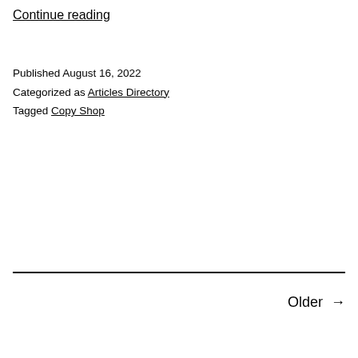Continue reading
Published August 16, 2022
Categorized as Articles Directory
Tagged Copy Shop
Older →